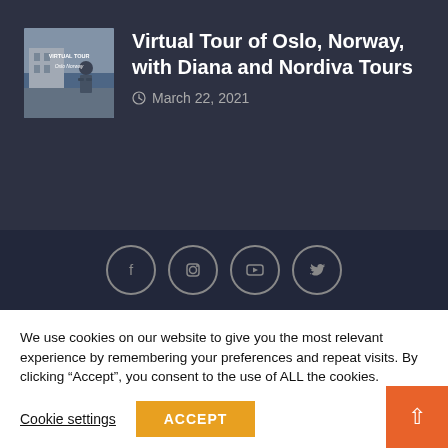[Figure (photo): Thumbnail image of a person in a coat outdoors with text overlay 'Virtual Tour Oslo, Norway']
Virtual Tour of Oslo, Norway, with Diana and Nordiva Tours
March 22, 2021
[Figure (infographic): Social media icons: Facebook, Instagram, YouTube, Twitter in circular bordered buttons]
We use cookies on our website to give you the most relevant experience by remembering your preferences and repeat visits. By clicking “Accept”, you consent to the use of ALL the cookies.
Cookie settings
ACCEPT